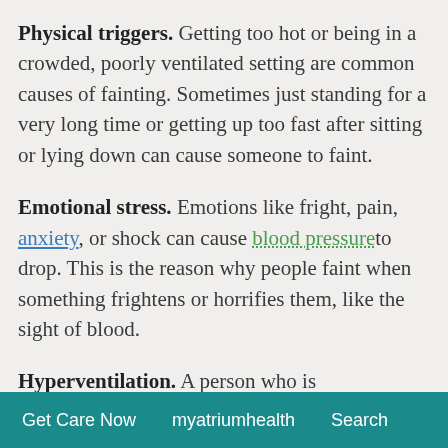Physical triggers. Getting too hot or being in a crowded, poorly ventilated setting are common causes of fainting. Sometimes just standing for a very long time or getting up too fast after sitting or lying down can cause someone to faint.
Emotional stress. Emotions like fright, pain, anxiety, or shock can cause blood pressure to drop. This is the reason why people faint when something frightens or horrifies them, like the sight of blood.
Hyperventilation. A person who is hyperventilating is taking fast breaths. Carbon dioxide (CO2) levels in the blood falls, causing blood vessels to narrow. Blood flow...
Get Care Now   myatriumhealth   Search